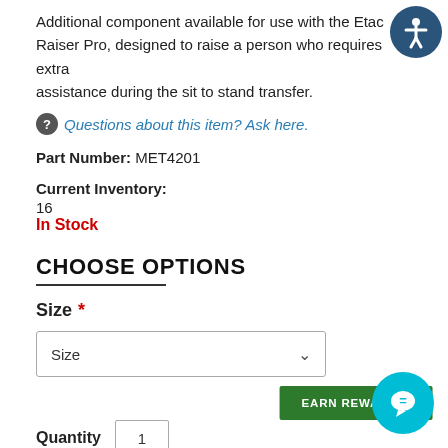Additional component available for use with the Etac Raiser Pro, designed to raise a person who requires extra assistance during the sit to stand transfer.
Questions about this item? Ask here.
Part Number: MET4201
Current Inventory:
16
In Stock
CHOOSE OPTIONS
Size *
Size
EARN REWARDS!
Quantity 1